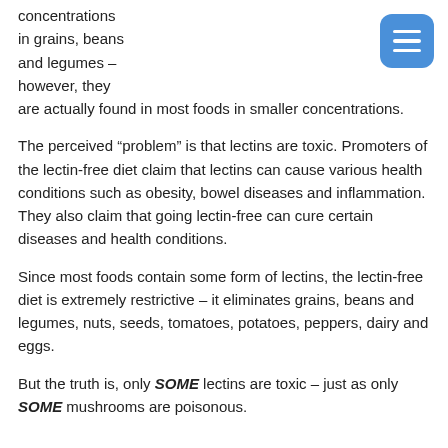concentrations in grains, beans and legumes – however, they are actually found in most foods in smaller concentrations.
The perceived “problem” is that lectins are toxic. Promoters of the lectin-free diet claim that lectins can cause various health conditions such as obesity, bowel diseases and inflammation. They also claim that going lectin-free can cure certain diseases and health conditions.
Since most foods contain some form of lectins, the lectin-free diet is extremely restrictive – it eliminates grains, beans and legumes, nuts, seeds, tomatoes, potatoes, peppers, dairy and eggs.
But the truth is, only SOME lectins are toxic – just as only SOME mushrooms are poisonous.